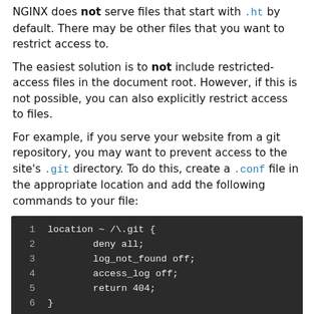NGINX does not serve files that start with .ht by default. There may be other files that you want to restrict access to.
The easiest solution is to not include restricted-access files in the document root. However, if this is not possible, you can also explicitly restrict access to files.
For example, if you serve your website from a git repository, you may want to prevent access to the site's .git directory. To do this, create a .conf file in the appropriate location and add the following commands to your file:
[Figure (screenshot): Dark-background code block showing nginx config: location ~ /\.git { deny all; log_not_found off; access_log off; return 404; }]